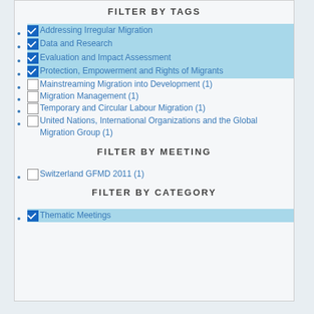FILTER BY TAGS
Addressing Irregular Migration
Data and Research
Evaluation and Impact Assessment
Protection, Empowerment and Rights of Migrants
Mainstreaming Migration into Development (1)
Migration Management (1)
Temporary and Circular Labour Migration (1)
United Nations, International Organizations and the Global Migration Group (1)
FILTER BY MEETING
Switzerland GFMD 2011 (1)
FILTER BY CATEGORY
Thematic Meetings